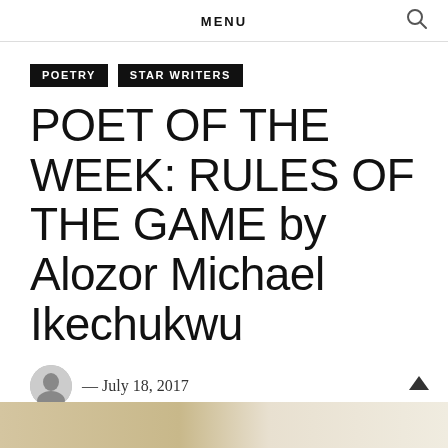MENU
POETRY
STAR WRITERS
POET OF THE WEEK: RULES OF THE GAME by Alozor Michael Ikechukwu
— July 18, 2017
[Figure (photo): Partial bottom image, likely related to the poem or poet]